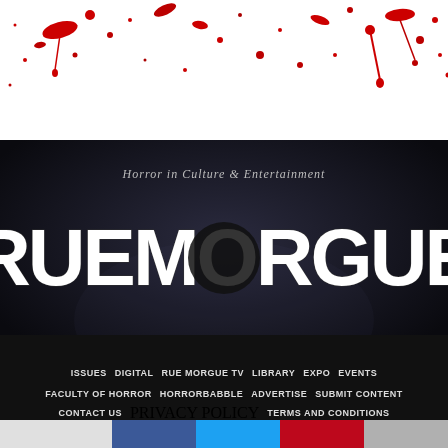[Figure (illustration): Blood splatter banner on white background at top of page]
[Figure (logo): Rue Morgue magazine logo — Horror in Culture & Entertainment — large gothic distressed white lettering on dark moody background]
HOME  SUBSCRIBE  SHOPPE  ABOUT
ISSUES  DIGITAL  RUE MORGUE TV  LIBRARY  EXPO  EVENTS
FACULTY OF HORROR  HORRORBABBLE  ADVERTISE  SUBMIT CONTENT
CONTACT US  PRIVACY POLICY  TERMS AND CONDITIONS
[Figure (infographic): Social sharing bar with Shares label, Facebook, Twitter, Pinterest, and email icons]